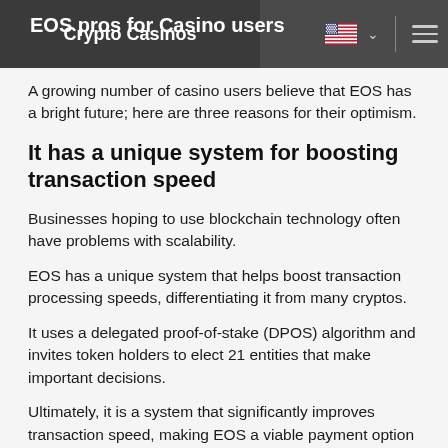EOS pros for Casino users | Crypto Casinos
A growing number of casino users believe that EOS has a bright future; here are three reasons for their optimism.
It has a unique system for boosting transaction speed
Businesses hoping to use blockchain technology often have problems with scalability.
EOS has a unique system that helps boost transaction processing speeds, differentiating it from many cryptos.
It uses a delegated proof-of-stake (DPOS) algorithm and invites token holders to elect 21 entities that make important decisions.
Ultimately, it is a system that significantly improves transaction speed, making EOS a viable payment option for casino users due to its...